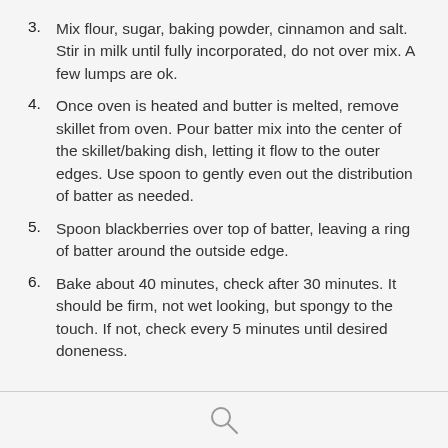3. Mix flour, sugar, baking powder, cinnamon and salt. Stir in milk until fully incorporated, do not over mix. A few lumps are ok.
4. Once oven is heated and butter is melted, remove skillet from oven. Pour batter mix into the center of the skillet/baking dish, letting it flow to the outer edges. Use spoon to gently even out the distribution of batter as needed.
5. Spoon blackberries over top of batter, leaving a ring of batter around the outside edge.
6. Bake about 40 minutes, check after 30 minutes. It should be firm, not wet looking, but spongy to the touch. If not, check every 5 minutes until desired doneness.
[Figure (other): Search icon at the bottom of the page]